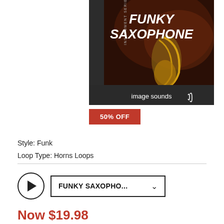[Figure (illustration): Product cover art for 'Funky Saxophone' by Image Sounds. Dark background with a saxophonist playing, golden saxophone visible. Text reads 'FUNKY SAXOPHONE' in bold white italic letters at the top. Left side has vertical text 'INSTRUMENT SERIES'. Bottom bar shows 'image sounds' logo with sound wave icon.]
50% OFF
Style: Funk
Loop Type: Horns Loops
FUNKY SAXOPHO...
Now $19.98